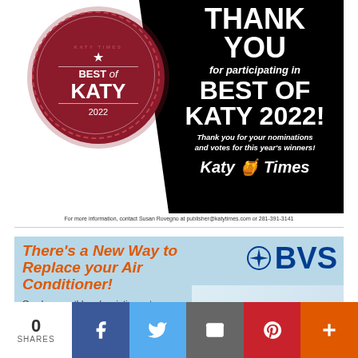[Figure (illustration): Best of Katy 2022 award badge with red circular logo on left, black background on right with text: THANK YOU for participating in BEST OF KATY 2022! Thank you for your nominations and votes for this year's winners! Katy Times logo. Contact info at bottom.]
[Figure (illustration): BVS Home Experts advertisement with light blue background. Orange italic bold text: There's a New Way to Replace your Air Conditioner! Black text: One low monthly subscription gets you a brand. BVS logo with blue text on right side with van and people.]
[Figure (infographic): Social media sharing bar with share count 0 SHARES, Facebook, Twitter, Email, Pinterest, and More (+) buttons]